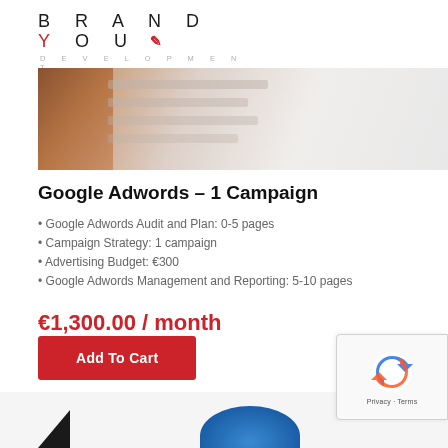BRAND YOU DEVELOPMENT
[Figure (photo): Close-up photo of a tablet or phone with a form/checklist, on a marble surface with brown leather visible]
Google Adwords – 1 Campaign
Google Adwords Audit and Plan: 0-5 pages
Campaign Strategy: 1 campaign
Advertising Budget: €300
Google Adwords Management and Reporting: 5-10 pages
€1,300.00 / month
Add To Cart
[Figure (screenshot): Bottom section showing partial next product card with triangle and blue blob decorations, and reCAPTCHA badge overlay]